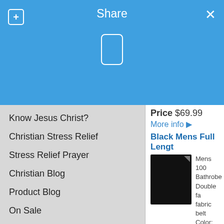[Figure (screenshot): Blue header bar with Share title, plus icon on left, X on right, phone icon below]
Know Jesus Christ?
Christian Stress Relief
Stress Relief Prayer
Christian Blog
Product Blog
On Sale
Customer Testimonials
About Us
349 people like this. Sign Up to see what your friends like.
Price $69.99
More info ▶
Black Mens Full Lengt
Mens 100 Bathrobe Double fa fabric belt Color: Bla
Price $87.90
More info ▶
Black Mens Monk Bath
Mens 100 Full Leng oz./sq. yd adjustable belt. Col